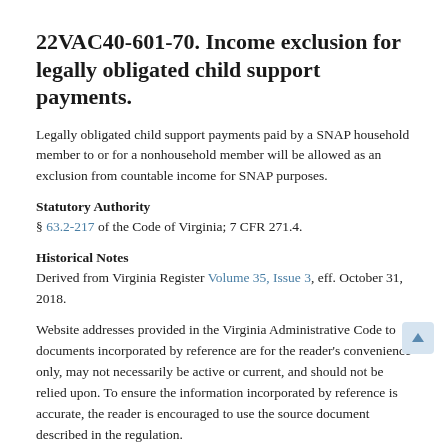22VAC40-601-70. Income exclusion for legally obligated child support payments.
Legally obligated child support payments paid by a SNAP household member to or for a nonhousehold member will be allowed as an exclusion from countable income for SNAP purposes.
Statutory Authority
§ 63.2-217 of the Code of Virginia; 7 CFR 271.4.
Historical Notes
Derived from Virginia Register Volume 35, Issue 3, eff. October 31, 2018.
Website addresses provided in the Virginia Administrative Code to documents incorporated by reference are for the reader's convenience only, may not necessarily be active or current, and should not be relied upon. To ensure the information incorporated by reference is accurate, the reader is encouraged to use the source document described in the regulation.
As a service to the public, the Virginia Administrative Code is